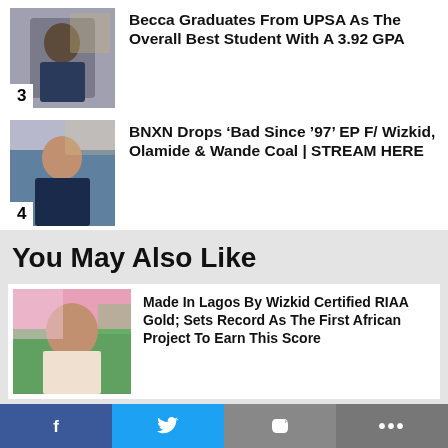[Figure (photo): Photo of Becca (female musician) with number badge 3]
Becca Graduates From UPSA As The Overall Best Student With A 3.92 GPA
[Figure (photo): Photo of BNXN (male musician) with number badge 4]
BNXN Drops ‘Bad Since ‘97’ EP F/ Wizkid, Olamide & Wande Coal | STREAM HERE
You May Also Like
[Figure (photo): Photo of Wizkid wearing sunglasses against pink/green background]
Made In Lagos By Wizkid Certified RIAA Gold; Sets Record As The First African Project To Earn This Score
[Figure (photo): Photo of person with hat (dark tones)]
“Goodbye, Gold Coast” Audio Drama By Joewackle J. Kusi To
[Figure (infographic): Social share bar with Facebook, Twitter, link, and more buttons]